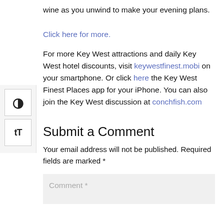wine as you unwind to make your evening plans.
Click here for more.
For more Key West attractions and daily Key West hotel discounts, visit keywestfinest.mobi on your smartphone. Or click here the Key West Finest Places app for your iPhone. You can also join the Key West discussion at conchfish.com
Submit a Comment
Your email address will not be published. Required fields are marked *
Comment *